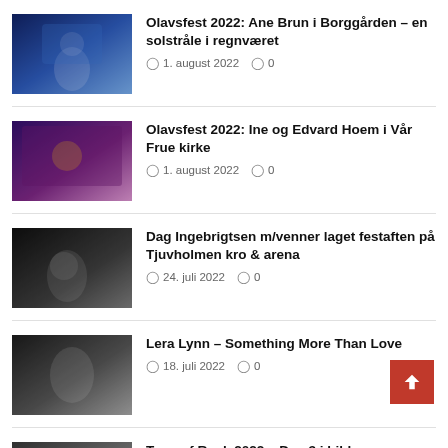Olavsfest 2022: Ane Brun i Borggården – en solstråle i regnværet
1. august 2022  0
Olavsfest 2022: Ine og Edvard Hoem i Vår Frue kirke
1. august 2022  0
Dag Ingebrigtsen m/venner laget festaften på Tjuvholmen kro & arena
24. juli 2022  0
Lera Lynn – Something More Than Love
18. juli 2022  0
Tons of Rock 2022 – Dag 3 i bilder
26. juni 2022  0